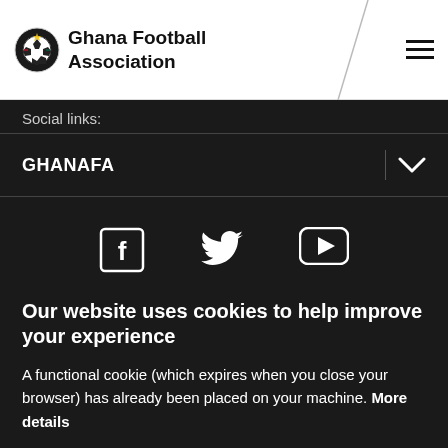Ghana Football Association
Social links:
GHANAFA
[Figure (logo): Social media icons: Facebook, Twitter, YouTube]
Our website uses cookies to help improve your experience
A functional cookie (which expires when you close your browser) has already been placed on your machine. More details
ACCEPT COOKIES